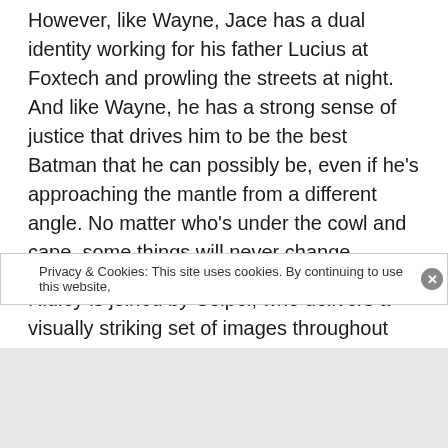However, like Wayne, Jace has a dual identity working for his father Lucius at Foxtech and prowling the streets at night.  And like Wayne, he has a strong sense of justice that drives him to be the best Batman that he can possibly be, even if he's approaching the mantle from a different angle. No matter who's under the cowl and cape, some things will never change.
Ridley is joined by Coipel, who delivers a visually striking set of images throughout the issue. Coipel cut his teeth
Privacy & Cookies: This site uses cookies. By continuing to use this website,